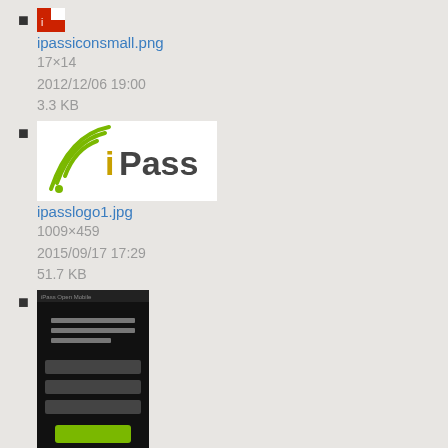ipassiconsmall.png
17×14
2012/12/06 19:00
3.3 KB
ipasslogo1.jpg
1009×459
2015/09/17 17:29
51.7 KB
iphone_replaceprof.png
640×1136
2013/11/13 18:34
50.8 KB
(partial thumbnail)